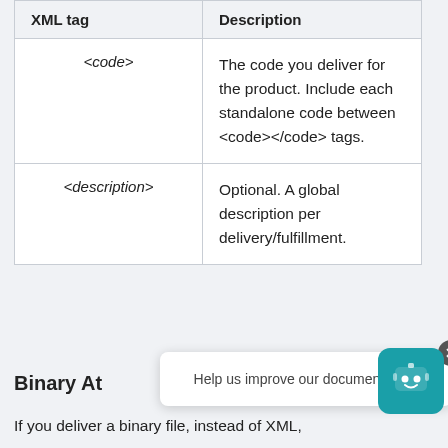| XML tag | Description |
| --- | --- |
| <code> | The code you deliver for the product. Include each standalone code between <code></code> tags. |
| <description> | Optional. A global description per delivery/fulfillment. |
Binary At...
If you deliver a binary file, instead of XML,